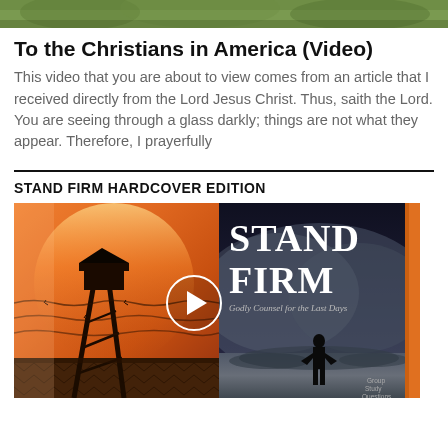[Figure (photo): Top banner image showing green foliage/nature scene]
To the Christians in America (Video)
This video that you are about to view comes from an article that I received directly from the Lord Jesus Christ. Thus, saith the Lord. You are seeing through a glass darkly; things are not what they appear. Therefore, I prayerfully
STAND FIRM HARDCOVER EDITION
[Figure (screenshot): Video thumbnail showing a split image: left side has a guard tower with barbed wire against an orange/red sky, right side shows the book cover of 'Stand Firm: Godly Counsel for the Last Days' with a silhouette of a person standing on rocky shore against a stormy sky. A play button circle is overlaid in the center.]